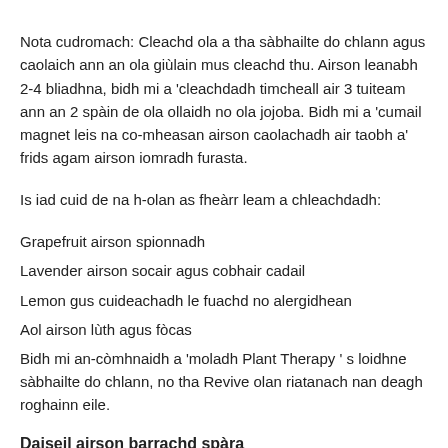Nota cudromach: Cleachd ola a tha sàbhailte do chlann agus caolaich ann an ola giùlain mus cleachd thu. Airson leanabh 2-4 bliadhna, bidh mi a 'cleachdadh timcheall air 3 tuiteam ann an 2 spàin de ola ollaidh no ola jojoba. Bidh mi a 'cumail magnet leis na co-mheasan airson caolachadh air taobh a' frids agam airson iomradh furasta.
Is iad cuid de na h-olan as fheàrr leam a chleachdadh:
Grapefruit airson spionnadh
Lavender airson socair agus cobhair cadail
Lemon gus cuideachadh le fuachd no alergidhean
Aol airson lùth agus fòcas
Bidh mi an-còmhnaidh a 'moladh Plant Therapy ' s loidhne sàbhailte do chlann, no tha Revive olan riatanach nan deagh roghainn eile.
Daiseil airson barrachd spàra